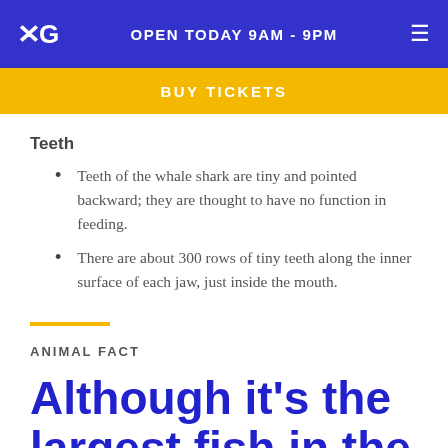xG  OPEN TODAY 9AM - 9PM  ☰
BUY TICKETS
Teeth
Teeth of the whale shark are tiny and pointed backward; they are thought to have no function in feeding.
There are about 300 rows of tiny teeth along the inner surface of each jaw, just inside the mouth.
ANIMAL FACT
Although it's the largest fish in the